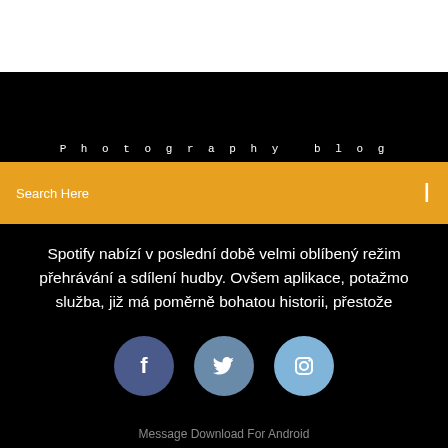Photography blog
Search Here
Spotify nabízí v poslední době velmi oblíbený režim přehrávání a sdílení hudby. Ovšem aplikace, potažmo služba, již má poměrně bohatou historii, přestože
[Figure (illustration): Three social media icons: Facebook (dark blue circle with 'f'), Twitter (medium blue circle with bird), Instagram (light blue circle with camera icon)]
Message Download For Android